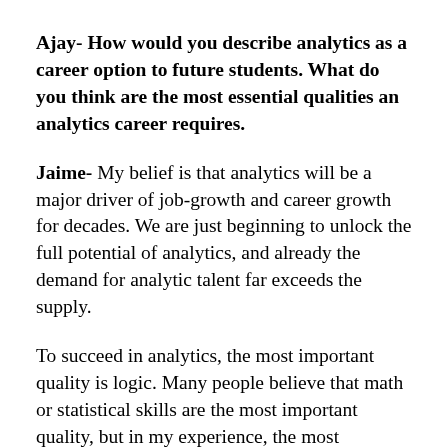Ajay- How would you describe analytics as a career option to future students. What do you think are the most essential qualities an analytics career requires.
Jaime- My belief is that analytics will be a major driver of job-growth and career growth for decades. We are just beginning to unlock the full potential of analytics, and already the demand for analytic talent far exceeds the supply.
To succeed in analytics, the most important quality is logic. Many people believe that math or statistical skills are the most important quality, but in my experience, the most